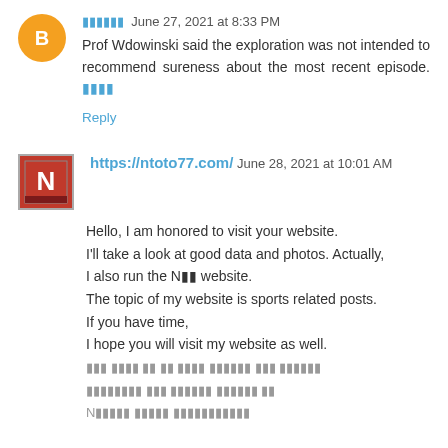▪▪▪▪▪▪  June 27, 2021 at 8:33 PM
Prof Wdowinski said the exploration was not intended to recommend sureness about the most recent episode. ▪▪▪▪
Reply
https://ntoto77.com/  June 28, 2021 at 10:01 AM
Hello, I am honored to visit your website.
I'll take a look at good data and photos. Actually,
I also run the N▪▪ website.
The topic of my website is sports related posts.
If you have time,
I hope you will visit my website as well.
▪▪▪ ▪▪▪▪ ▪▪ ▪▪ ▪▪▪▪ ▪▪▪▪▪▪ ▪▪▪ ▪▪▪▪▪▪
▪▪▪▪▪▪▪▪ ▪▪▪ ▪▪▪▪▪▪ ▪▪▪▪▪▪ ▪▪
N▪▪▪▪▪ ▪▪▪▪▪ ▪▪▪▪▪▪▪▪▪▪▪

I'm really sorry if it made you feel uncomfortable writing this post.